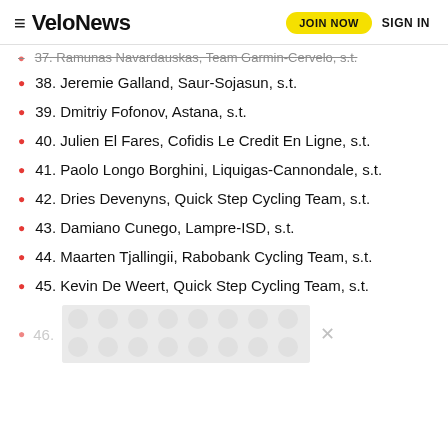VeloNews — JOIN NOW | SIGN IN
37. Ramunas Navardauskas, Team Garmin-Cervelo, s.t.
38. Jeremie Galland, Saur-Sojasun, s.t.
39. Dmitriy Fofonov, Astana, s.t.
40. Julien El Fares, Cofidis Le Credit En Ligne, s.t.
41. Paolo Longo Borghini, Liquigas-Cannondale, s.t.
42. Dries Devenyns, Quick Step Cycling Team, s.t.
43. Damiano Cunego, Lampre-ISD, s.t.
44. Maarten Tjallingii, Rabobank Cycling Team, s.t.
45. Kevin De Weert, Quick Step Cycling Team, s.t.
46.